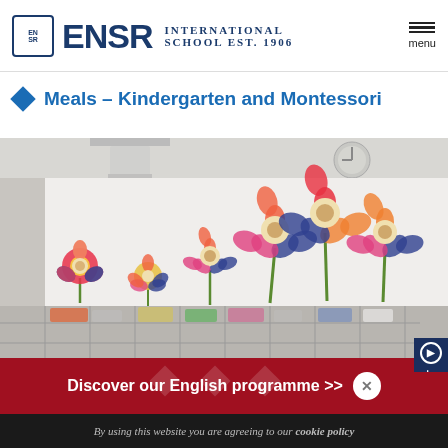ENSR International School Est. 1906
Meals – Kindergarten and Montessori
[Figure (photo): Classroom with colorful handprint flower decorations on the wall, above a row of cubby storage shelves]
Discover our English programme >>
By using this website you are agreeing to our cookie policy